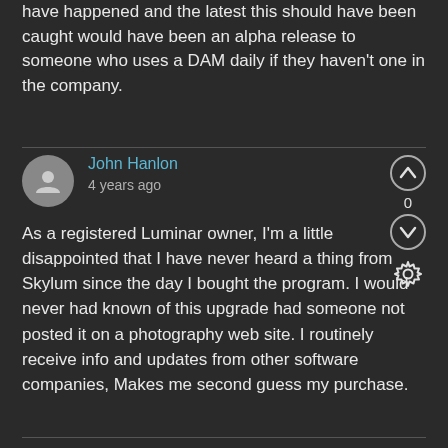have happened and the latest this should have been caught would have been an alpha release to someone who uses a DAM daily if they haven't one in the company.
John Hanlon
4 years ago
As a registered Luminar owner, I'm a little disappointed that I have never heard a thing from Skylum since the day I bought the program. I would never had known of this upgrade had someone not posted it on a photography web site. I routinely receive info and updates from other software companies, Makes me second guess my purchase.